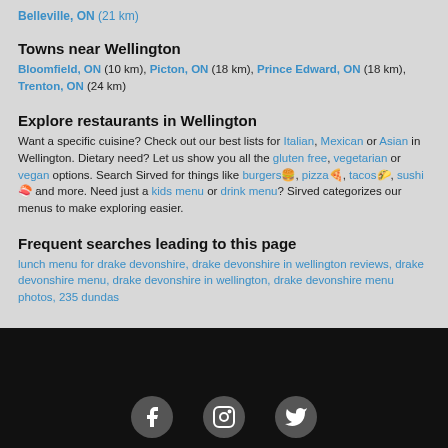Belleville, ON (21 km)
Towns near Wellington
Bloomfield, ON (10 km), Picton, ON (18 km), Prince Edward, ON (18 km), Trenton, ON (24 km)
Explore restaurants in Wellington
Want a specific cuisine? Check out our best lists for Italian, Mexican or Asian in Wellington. Dietary need? Let us show you all the gluten free, vegetarian or vegan options. Search Sirved for things like burgers🍔, pizza🍕, tacos🌮, sushi🍣 and more. Need just a kids menu or drink menu? Sirved categorizes our menus to make exploring easier.
Frequent searches leading to this page
lunch menu for drake devonshire, drake devonshire in wellington reviews, drake devonshire menu, drake devonshire in wellington, drake devonshire menu photos, 235 dundas